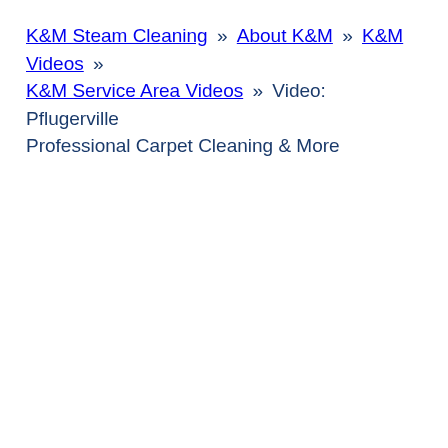K&M Steam Cleaning » About K&M » K&M Videos » K&M Service Area Videos » Video: Pflugerville Professional Carpet Cleaning & More